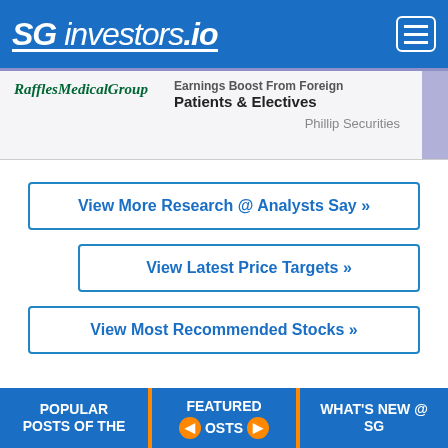SG investors.io
Earnings Boost From Foreign Patients & Electives — Phillip Securities
View More Research @ Analysts Say »
View Latest Price Targets »
View Most Recommended Stocks »
POPULAR POSTS OF THE | FEATURED POSTS | WHAT'S NEW @ SG